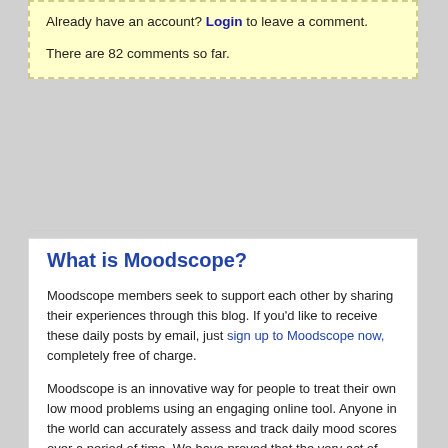Already have an account? Login to leave a comment.

There are 82 comments so far.
What is Moodscope?
Moodscope members seek to support each other by sharing their experiences through this blog. If you'd like to receive these daily posts by email, just sign up to Moodscope now, completely free of charge.
Moodscope is an innovative way for people to treat their own low mood problems using an engaging online tool. Anyone in the world can accurately assess and track daily mood scores over a period of time. We have proved that the very act of measuring, tracking and sharing mood can actually lift it. Join now.
Blog Archive
2022